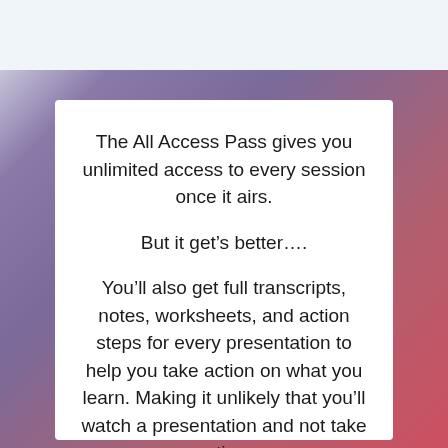The All Access Pass gives you unlimited access to every session once it airs.
But it get’s better….
You’ll also get full transcripts, notes, worksheets, and action steps for every presentation to help you take action on what you learn. Making it unlikely that you’ll watch a presentation and not take action.